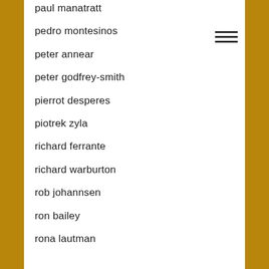paul manatratt
pedro montesinos
peter annear
peter godfrey-smith
pierrot desperes
piotrek zyla
richard ferrante
richard warburton
rob johannsen
ron bailey
rona lautman